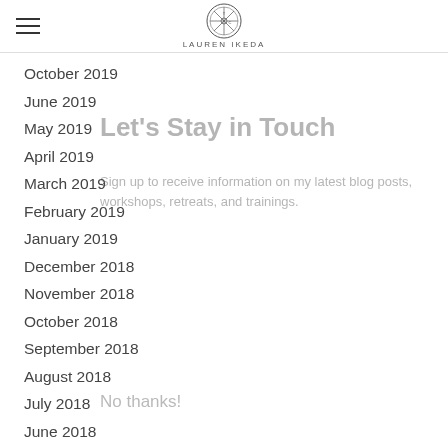Lauren Ikeda
October 2019
June 2019
May 2019
April 2019
March 2019
February 2019
January 2019
December 2018
November 2018
October 2018
September 2018
August 2018
July 2018
June 2018
April 2018
March 2018
January 2018